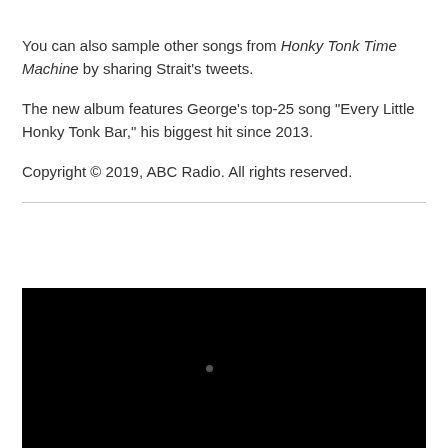You can also sample other songs from Honky Tonk Time Machine by sharing Strait's tweets.
The new album features George's top-25 song “Every Little Honky Tonk Bar,” his biggest hit since 2013.
Copyright © 2019, ABC Radio. All rights reserved.
[Figure (photo): A dark/black video player thumbnail with a small grey dot near the center-bottom area.]